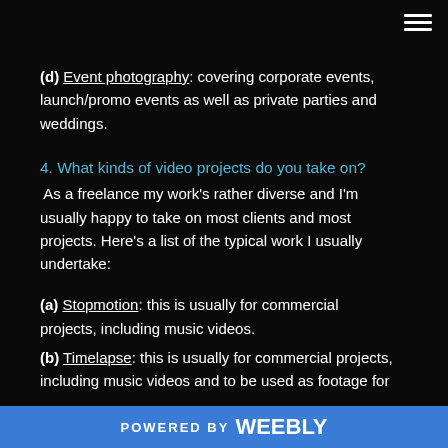(d) Event photography: covering corporate events, launch/promo events as well as private parties and weddings.
4. What kinds of video projects do you take on?
As a freelance my work's rather diverse and I'm usually happy to take on most clients and most projects. Here's a list of the typical work I usually undertake:
(a) Stopmotion: this is usually for commercial projects, including music videos.
(b) Timelapse: this is usually for commercial projects, including music videos and to be used as footage for
POWERED BY weebly